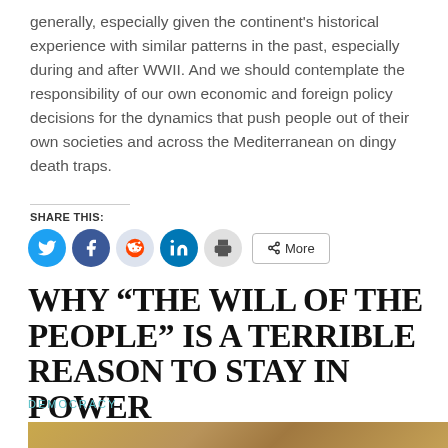generally, especially given the continent's historical experience with similar patterns in the past, especially during and after WWII. And we should contemplate the responsibility of our own economic and foreign policy decisions for the dynamics that push people out of their own societies and across the Mediterranean on dingy death traps.
SHARE THIS:
[Figure (other): Social share buttons: Twitter, Facebook, Reddit, LinkedIn, Print, and More]
WHY “THE WILL OF THE PEOPLE” IS A TERRIBLE REASON TO STAY IN POWER
DEMOCRACY
[Figure (photo): Bottom portion of a photo with golden/tan tones, partially visible at the bottom of the page]